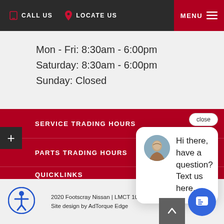CALL US  LOCATE US  MENU
Mon - Fri: 8:30am - 6:00pm
Saturday: 8:30am - 6:00pm
Sunday: Closed
SERVICE TRADING HOURS
PARTS TRADING HOURS
QUICKLINKS
NISSAN VEHI[CLES]
[Figure (screenshot): Chat popup with avatar photo of a woman and text: Hi there, have a question? Text us here. with a close button.]
2020 Footscray Nissan | LMCT 10856 | Privacy Policy
Site design by AdTorque Edge